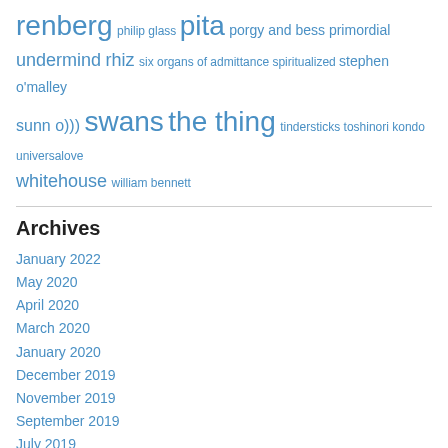renberg philip glass pita porgy and bess primordial undermind rhiz six organs of admittance spiritualized stephen o'malley sunn o))) swans the thing tindersticks toshinori kondo universalove whitehouse william bennett
Archives
January 2022
May 2020
April 2020
March 2020
January 2020
December 2019
November 2019
September 2019
July 2019
April 2019
December 2018